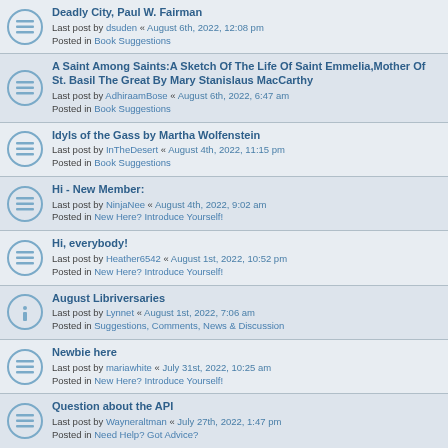Deadly City, Paul W. Fairman
Last post by dsuden « August 6th, 2022, 12:08 pm
Posted in Book Suggestions
A Saint Among Saints:A Sketch Of The Life Of Saint Emmelia,Mother Of St. Basil The Great By Mary Stanislaus MacCarthy
Last post by AdhiraamBose « August 6th, 2022, 6:47 am
Posted in Book Suggestions
Idyls of the Gass by Martha Wolfenstein
Last post by InTheDesert « August 4th, 2022, 11:15 pm
Posted in Book Suggestions
Hi - New Member:
Last post by NinjaNee « August 4th, 2022, 9:02 am
Posted in New Here? Introduce Yourself!
Hi, everybody!
Last post by Heather6542 « August 1st, 2022, 10:52 pm
Posted in New Here? Introduce Yourself!
August Libriversaries
Last post by Lynnet « August 1st, 2022, 7:06 am
Posted in Suggestions, Comments, News & Discussion
Newbie here
Last post by mariawhite « July 31st, 2022, 10:25 am
Posted in New Here? Introduce Yourself!
Question about the API
Last post by Wayneraltman « July 27th, 2022, 1:47 pm
Posted in Need Help? Got Advice?